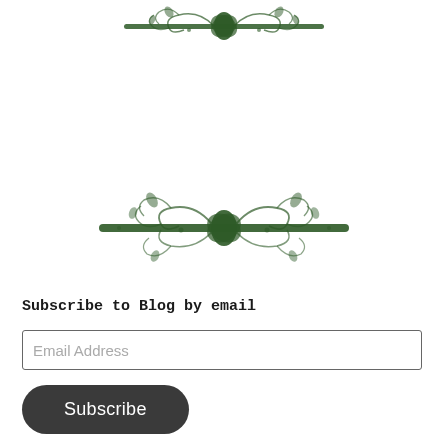[Figure (illustration): Decorative floral/botanical ornament in dark green at the top of the page, with swirling vine and leaf motifs]
[Figure (illustration): Decorative floral/botanical ornament in dark green in the middle of the page, with a horizontal dark green bar through the center and swirling vine and leaf motifs above and below]
Subscribe to Blog by email
Email Address
Subscribe